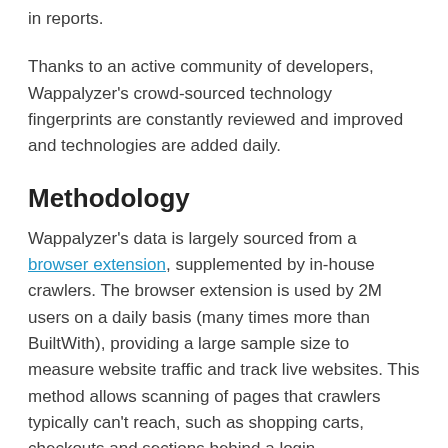in reports.
Thanks to an active community of developers, Wappalyzer's crowd-sourced technology fingerprints are constantly reviewed and improved and technologies are added daily.
Methodology
Wappalyzer's data is largely sourced from a browser extension, supplemented by in-house crawlers. The browser extension is used by 2M users on a daily basis (many times more than BuiltWith), providing a large sample size to measure website traffic and track live websites. This method allows scanning of pages that crawlers typically can't reach, such as shopping carts, checkouts and sections behind a login.